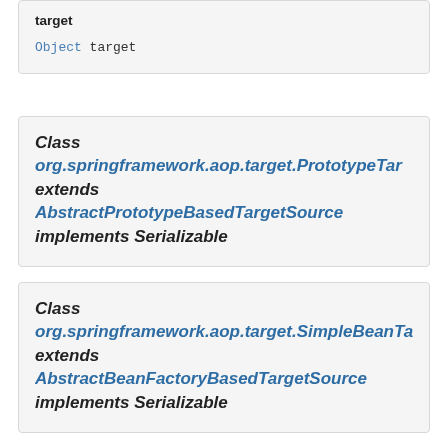target
Object target
Class org.springframework.aop.target.PrototypeTar extends AbstractPrototypeBasedTargetSource implements Serializable
Class org.springframework.aop.target.SimpleBeanTa extends AbstractBeanFactoryBasedTargetSource implements Serializable